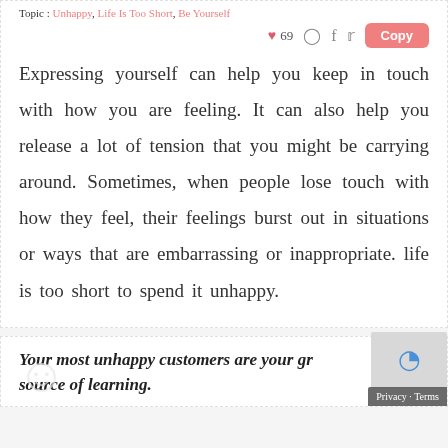Topic : Unhappy, Life Is Too Short, Be Yourself
❤ 69
Expressing yourself can help you keep in touch with how you are feeling. It can also help you release a lot of tension that you might be carrying around. Sometimes, when people lose touch with how they feel, their feelings burst out in situations or ways that are embarrassing or inappropriate. life is too short to spend it unhappy.
Your most unhappy customers are your greatest source of learning.